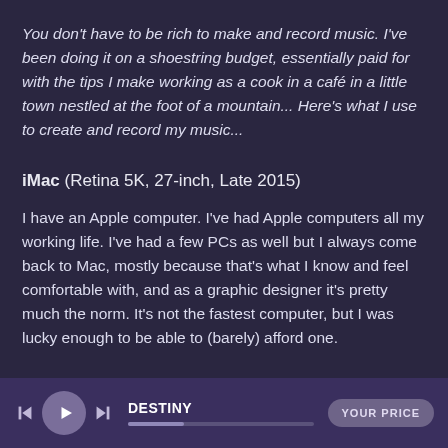You don't have to be rich to make and record music. I've been doing it on a shoestring budget, essentially paid for with the tips I make working as a cook in a café in a little town nestled at the foot of a mountain... Here's what I use to create and record my music...
iMac (Retina 5K, 27-inch, Late 2015)
I have an Apple computer. I've had Apple computers all my working life. I've had a few PCs as well but I always come back to Mac, mostly because that's what I know and feel comfortable with, and as a graphic designer it's pretty much the norm. It's not the fastest computer, but I was lucky enough to be able to (barely) afford one.
DESTINY | YOUR PRICE